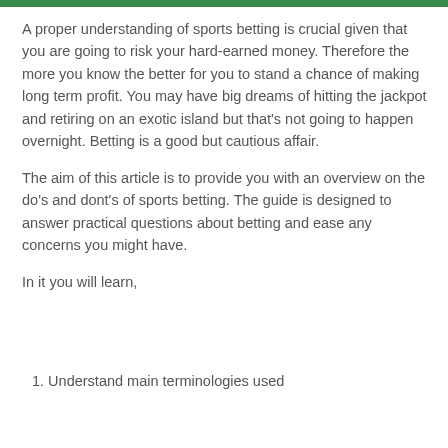A proper understanding of sports betting is crucial given that you are going to risk your hard-earned money. Therefore the more you know the better for you to stand a chance of making long term profit. You may have big dreams of hitting the jackpot and retiring on an exotic island but that's not going to happen overnight. Betting is a good but cautious affair.
The aim of this article is to provide you with an overview on the do's and dont's of sports betting. The guide is designed to answer practical questions about betting and ease any concerns you might have.
In it you will learn,
1. Understand main terminologies used